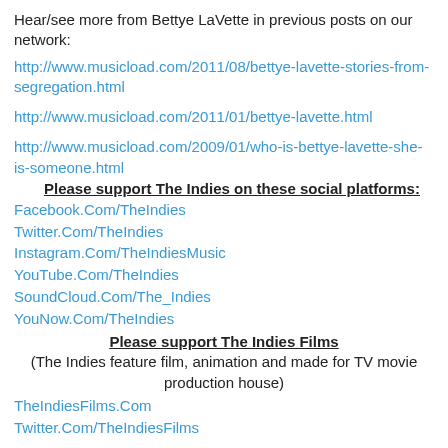Hear/see more from Bettye LaVette in previous posts on our network:
http://www.musicload.com/2011/08/bettye-lavette-stories-from-segregation.html
http://www.musicload.com/2011/01/bettye-lavette.html
http://www.musicload.com/2009/01/who-is-bettye-lavette-she-is-someone.html
Please support The Indies on these social platforms:
Facebook.Com/TheIndies
Twitter.Com/TheIndies
Instagram.Com/TheIndiesMusic
YouTube.Com/TheIndies
SoundCloud.Com/The_Indies
YouNow.Com/TheIndies
Please support The Indies Films
(The Indies feature film, animation and made for TV movie production house)
TheIndiesFilms.Com
Twitter.Com/TheIndiesFilms